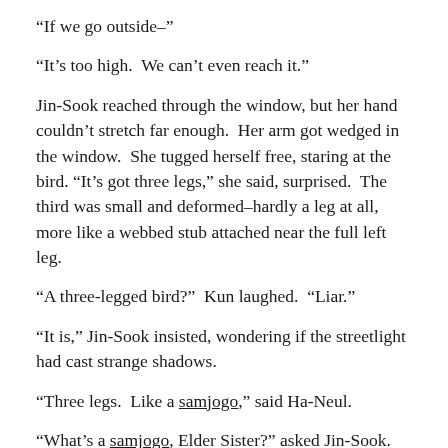“If we go outside–”
“It’s too high.  We can’t even reach it.”
Jin-Sook reached through the window, but her hand couldn’t stretch far enough.  Her arm got wedged in the window.  She tugged herself free, staring at the bird.  “It’s got three legs,” she said, surprised.  The third was small and deformed–hardly a leg at all, more like a webbed stub attached near the full left leg.
“A three-legged bird?”  Kun laughed.  “Liar.”
“It is,” Jin-Sook insisted, wondering if the streetlight had cast strange shadows.
“Three legs.  Like a samjogo,” said Ha-Neul.
“What’s a samjogo, Elder Sister?” asked Jin-Sook.